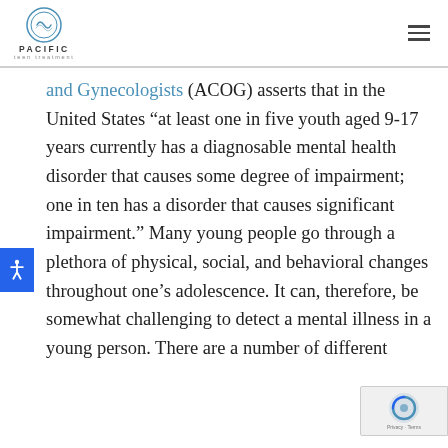PACIFIC Teen Treatment
and Gynecologists (ACOG) asserts that in the United States “at least one in five youth aged 9-17 years currently has a diagnosable mental health disorder that causes some degree of impairment; one in ten has a disorder that causes significant impairment.” Many young people go through a plethora of physical, social, and behavioral changes throughout one’s adolescence. It can, therefore, be somewhat challenging to detect a mental illness in a young person. There are a number of different